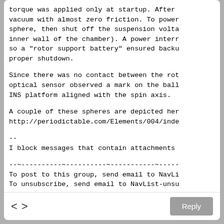torque was applied only at startup. After
vacuum with almost zero friction. To power
sphere, then shut off the suspension volta
inner wall of the chamber). A power interr
so a "rotor support battery" ensured backu
proper shutdown.
Since there was no contact between the rot
optical sensor observed a mark on the ball
INS platform aligned with the spin axis.
A couple of these spheres are depicted her
http://periodictable.com/Elements/004/inde
--
I block messages that contain attachments
--~----------~----------~-----------~-----
To post to this group, send email to NavLi
To unsubscribe, send email to NavList-unsu
-~----------~----------~----------~-------